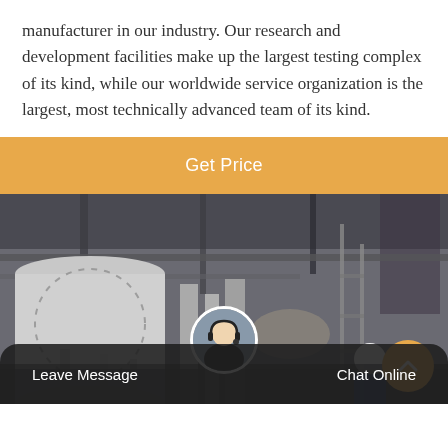manufacturer in our industry. Our research and development facilities make up the largest testing complex of its kind, while our worldwide service organization is the largest, most technically advanced team of its kind.
Get Price
[Figure (photo): Industrial facility interior showing large white cylindrical tanks or vessels with pipes and scaffolding, a worker in a blue jacket and white hard hat visible in the lower right area.]
Leave Message
Chat Online